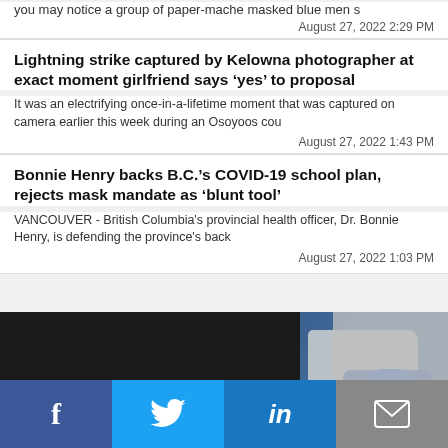you may notice a group of paper-mache masked blue men s
August 27, 2022 2:29 PM
Lightning strike captured by Kelowna photographer at exact moment girlfriend says ‘yes’ to proposal
It was an electrifying once-in-a-lifetime moment that was captured on camera earlier this week during an Osoyoos cou
August 27, 2022 1:43 PM
Bonnie Henry backs B.C.’s COVID-19 school plan, rejects mask mandate as ‘blunt tool’
VANCOUVER - British Columbia’s provincial health officer, Dr. Bonnie Henry, is defending the province’s back
August 27, 2022 1:03 PM
[Figure (infographic): NINJAnow PENTICTON advertisement banner with delivery person in blue uniform carrying cases next to a white van]
[Figure (infographic): Social media share bar with Facebook, Twitter, LinkedIn, and email icons]